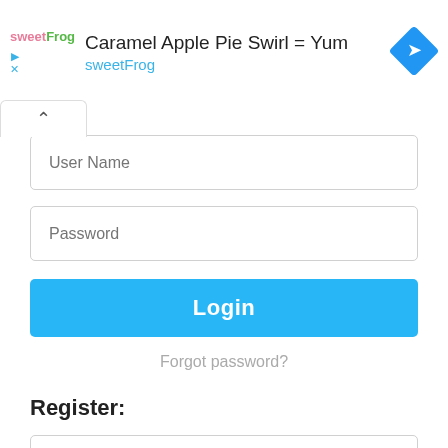[Figure (screenshot): SweetFrog advertisement banner with logo, title 'Caramel Apple Pie Swirl = Yum', brand name 'sweetFrog', and a blue navigation diamond icon on the right.]
User Name
Password
Login
Forgot password?
Register:
User Name